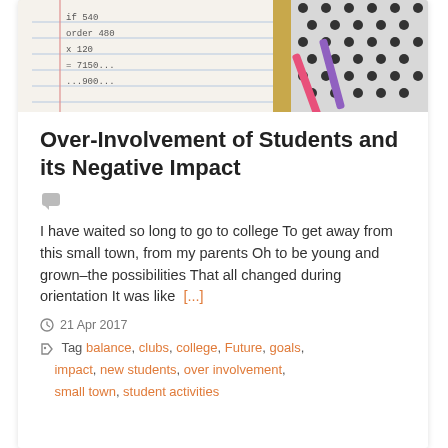[Figure (photo): Top portion of a blog card showing a photo of a notebook with handwritten numbers and two pens (purple and pink) on a polka-dot background]
Over-Involvement of Students and its Negative Impact
I have waited so long to go to college To get away from this small town, from my parents Oh to be young and grown–the possibilities That all changed during orientation It was like  [...]
21 Apr 2017
Tag balance, clubs, college, Future, goals, impact, new students, over involvement, small town, student activities